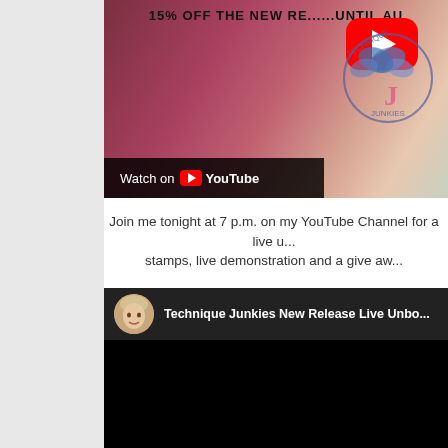[Figure (screenshot): YouTube video thumbnail showing a promotional image with '15% OFF THE NEW RE... UNTIL AU...' text, a large red YouTube play button, a pink/magenta rose flower, a butterfly stamp watermark, and a 'Watch on YouTube' bar at the bottom.]
Join me tonight at 7 p.m. on my YouTube Channel for a live ... stamps, live demonstration and a give aw...
[Figure (screenshot): YouTube video embed with dark header showing a circular avatar photo of a woman with blonde hair and the title 'Technique Junkies New Release Live Unbo...' followed by a black video area.]